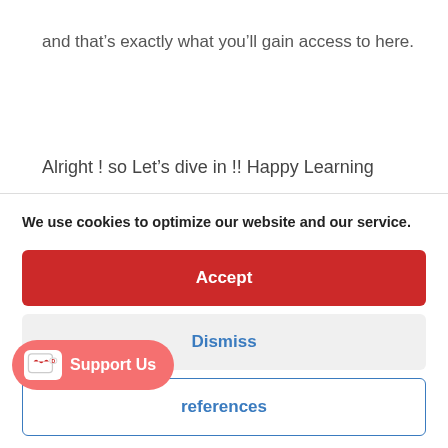and that's exactly what you'll gain access to here.
Alright ! so Let's dive in !! Happy Learning
We use cookies to optimize our website and our service.
Accept
Dismiss
references
Support Us